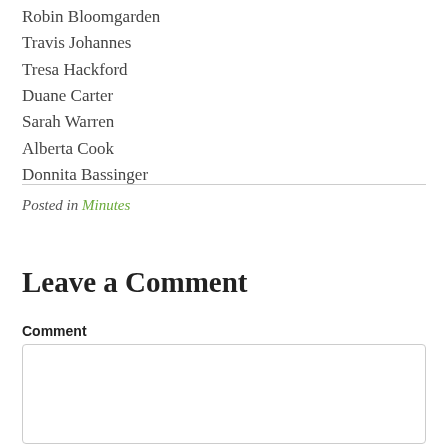Robin Bloomgarden
Travis Johannes
Tresa Hackford
Duane Carter
Sarah Warren
Alberta Cook
Donnita Bassinger
Posted in Minutes
Leave a Comment
Comment